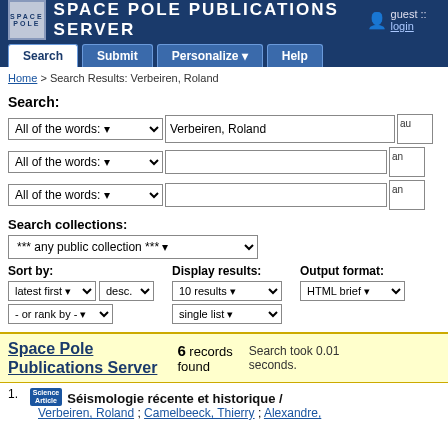Space Pole Publications Server
guest :: login
Search | Submit | Personalize | Help
Home > Search Results: Verbeiren, Roland
Search:
All of the words: Verbeiren, Roland | au
All of the words: | an
All of the words: | an
Search collections:
*** any public collection ***
Sort by: latest first | desc. | - or rank by -
Display results: 10 results | single list
Output format: HTML brief
Space Pole Publications Server  6 records found  Search took 0.01 seconds.
1. Science Article  Séismologie récente et historique / Verbeiren, Roland ; Camelbeeck, Thierry ; Alexandre, Pi...